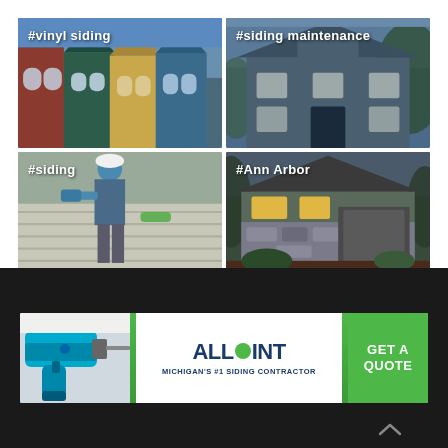[Figure (photo): Photo tile showing colorful row houses with vinyl siding, labeled #vinyl siding]
[Figure (photo): Photo tile showing a blue craftsman house, labeled #siding maintenance]
[Figure (photo): Photo tile showing a worker installing siding, labeled #siding]
[Figure (photo): Photo tile showing a stone and wood craftsman home, labeled #Ann Arbor]
[Figure (infographic): Allpoint advertisement banner: Michigan's #1 Siding Contractor with Get A Quote CTA button, drill image on left]